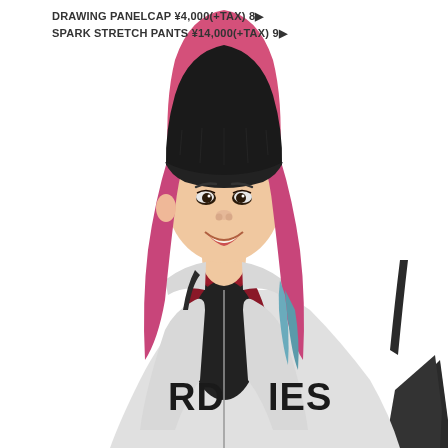DRAWING PANELCAP ¥4,000(+TAX) 8▶
SPARK STRETCH PANTS ¥14,000(+TAX) 9▶
[Figure (photo): Young Asian woman with long pink and blue-tipped hair wearing a black beanie hat, red-hooded grey varsity zip-up hoodie with 'RUDIE'S' lettering in black, black top underneath, and a black backpack. She is smiling against a white background.]